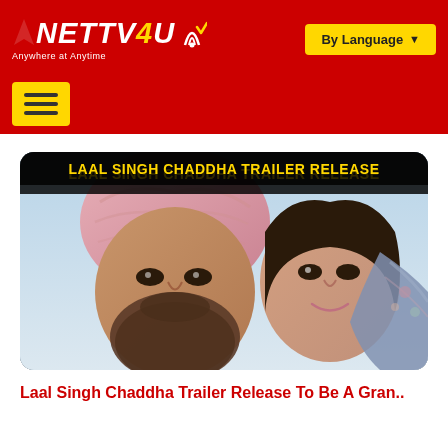NETTV4U — Anywhere at Anytime | By Language
[Figure (screenshot): Hamburger menu button (yellow) on red background navigation bar]
[Figure (photo): Movie promotional image for Laal Singh Chaddha Trailer Release showing two actors, a man wearing a pink turban with a beard and a woman smiling, with a black banner at top reading LAAL SINGH CHADDHA TRAILER RELEASE in yellow text]
Laal Singh Chaddha Trailer Release To Be A Gran..